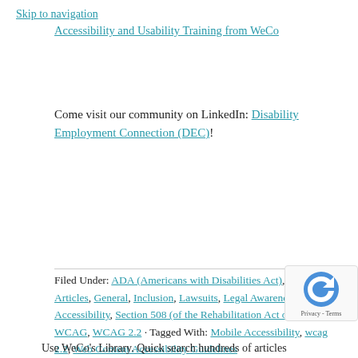Skip to navigation
Accessibility and Usability Training from WeCo
Come visit our community on LinkedIn: Disability Employment Connection (DEC)!
Filed Under: ADA (Americans with Disabilities Act), Featured Articles, General, Inclusion, Lawsuits, Legal Awareness, Mobile Accessibility, Section 508 (of the Rehabilitation Act of 1973), WCAG, WCAG 2.2 · Tagged With: Mobile Accessibility, wcag 2.2, Web Content Accessibility Guidelines
Use WeCo's Library. Quick search hundreds of articles